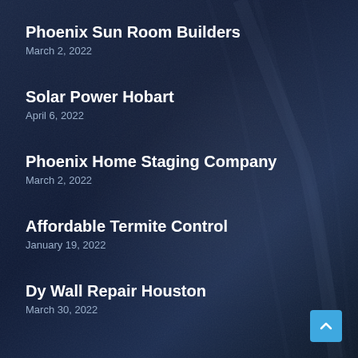Phoenix Sun Room Builders
March 2, 2022
Solar Power Hobart
April 6, 2022
Phoenix Home Staging Company
March 2, 2022
Affordable Termite Control
January 19, 2022
Dy Wall Repair Houston
March 30, 2022